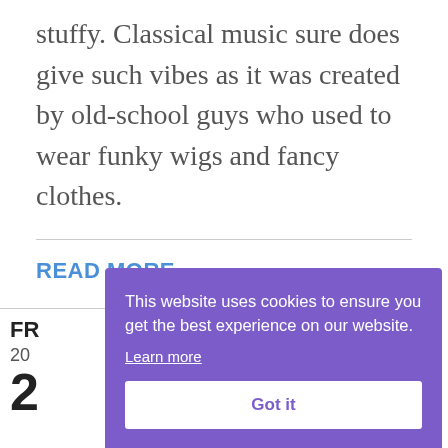stuffy. Classical music sure does give such vibes as it was created by old-school guys who used to wear funky wigs and fancy clothes.
READ MORE
FR
20
2
[Figure (screenshot): Cookie consent overlay with purple background. Text: 'This website uses cookies to ensure you get the best experience on our website.' with 'Learn more' link and 'Got it' button.]